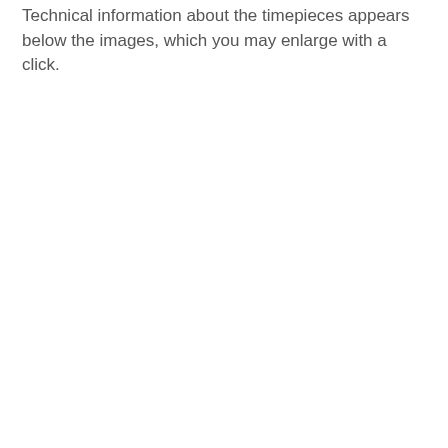Technical information about the timepieces appears below the images, which you may enlarge with a click.